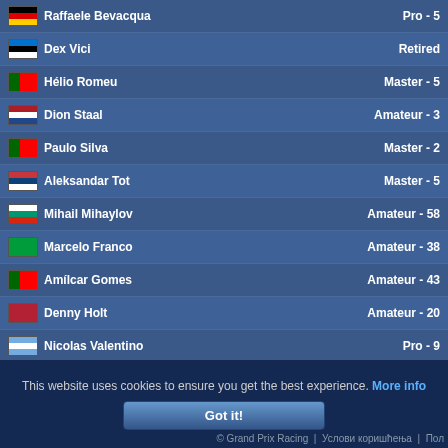Raffaele Bevacqua - Pro - 5
Dex Vici - Retired
Hélio Romeu - Master - 5
Dion Staal - Amateur - 3
Paulo Silva - Master - 2
Aleksandar Tot - Master - 5
Mihail Mihaylov - Amateur - 58
Marcelo Franco - Amateur - 38
Amílcar Gomes - Amateur - 43
Denny Holt - Amateur - 20
Nicolas Valentino - Pro - 9
Arnoldas Arnisgd - Pro - 4
Renato Ribeiro - Amateur - 4
Marco Conti - Master - 4
Zrinyi Szilárd - Amateur - 45
Pedro Marques - Pro - 14
Страна [1] 2 3 ... 28 29 30 »
This website uses cookies to ensure you get the best experience. More info
Got it!